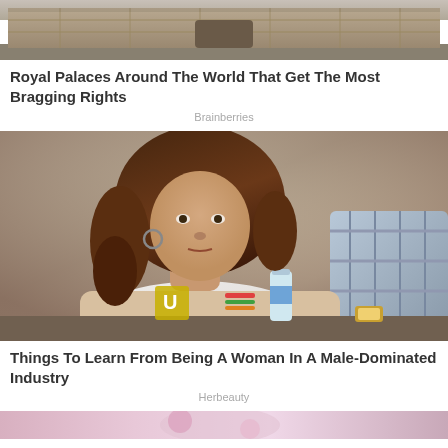[Figure (photo): Photo of ancient stone royal palace facade, partially visible at top of page]
Royal Palaces Around The World That Get The Most Bragging Rights
Brainberries
[Figure (photo): Photo of a woman with curly brown hair wearing a white shirt with a letter U patch, leaning on a table at what appears to be a poker or game event, with another person in a plaid shirt visible on the right]
Things To Learn From Being A Woman In A Male-Dominated Industry
Herbeauty
[Figure (photo): Partial photo at bottom of page, showing colorful content, mostly cut off]